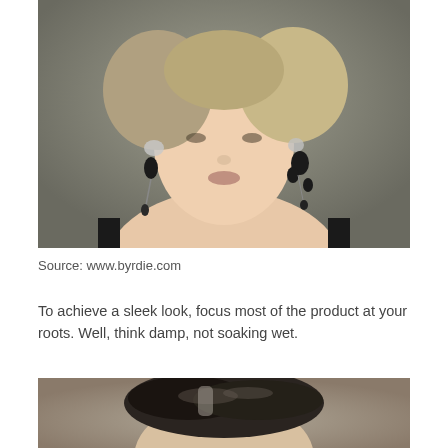[Figure (photo): Close-up photo of a fashion model wearing large dangling black earrings, with short blonde hair, bare neck and shoulders, wearing a black top.]
Source: www.byrdie.com
To achieve a sleek look, focus most of the product at your roots. Well, think damp, not soaking wet.
[Figure (photo): Close-up photo of a person with slicked-back dark hair showing a wet/gel hairstyle, from the top of head downward.]